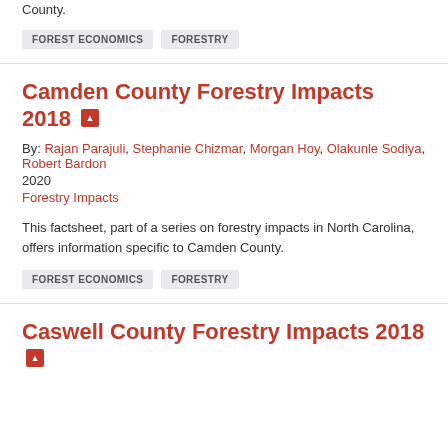County.
FOREST ECONOMICS
FORESTRY
Camden County Forestry Impacts 2018
By: Rajan Parajuli, Stephanie Chizmar, Morgan Hoy, Olakunle Sodiya, Robert Bardon
2020
Forestry Impacts
This factsheet, part of a series on forestry impacts in North Carolina, offers information specific to Camden County.
FOREST ECONOMICS
FORESTRY
Caswell County Forestry Impacts 2018